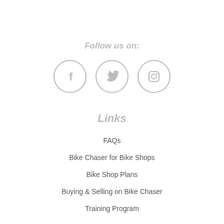Follow us on:
[Figure (illustration): Three social media icon circles: Facebook (f), Twitter (bird), Instagram (camera)]
Links
FAQs
Bike Chaser for Bike Shops
Bike Shop Plans
Buying & Selling on Bike Chaser
Training Program